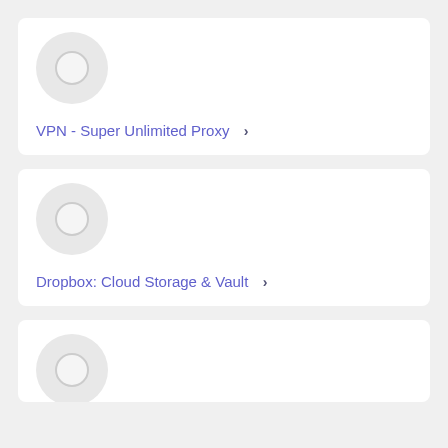[Figure (screenshot): App listing card for VPN - Super Unlimited Proxy with a circular placeholder icon and a blue-purple link text with chevron]
VPN - Super Unlimited Proxy ›
[Figure (screenshot): App listing card for Dropbox: Cloud Storage & Vault with a circular placeholder icon and a blue-purple link text with chevron]
Dropbox: Cloud Storage & Vault ›
[Figure (screenshot): Partial app listing card showing only a circular placeholder icon, third card cut off at bottom]